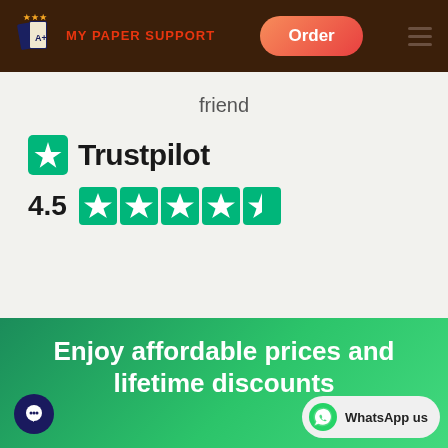MY PAPER SUPPORT — Order
friend
[Figure (logo): Trustpilot logo with green star icon and 'Trustpilot' text in dark, plus 4.5 star rating shown with five green star boxes]
Enjoy affordable prices and lifetime discounts
[Figure (logo): WhatsApp us button with WhatsApp icon and chat bubble icon]